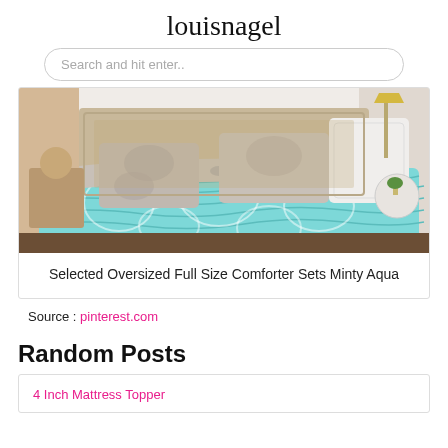louisnagel
Search and hit enter..
[Figure (photo): A neatly made bed with a turquoise/aqua oversized comforter with white floral pattern, paired with grey floral/leopard print pillows and blanket. A gold lamp and round side table are visible on the right side.]
Selected Oversized Full Size Comforter Sets Minty Aqua
Source : pinterest.com
Random Posts
4 Inch Mattress Topper